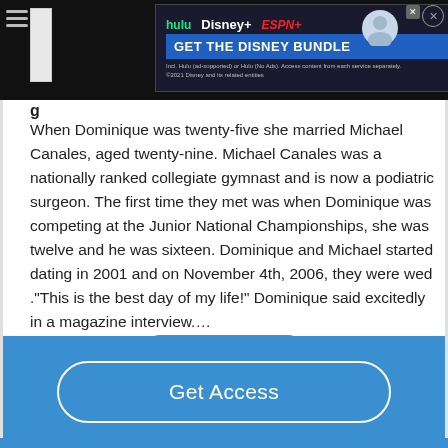[Figure (screenshot): Disney Bundle advertisement banner with Hulu, Disney+, and ESPN+ logos and 'GET THE DISNEY BUNDLE' call to action]
When Dominique was twenty-five she married Michael Canales, aged twenty-nine. Michael Canales was a nationally ranked collegiate gymnast and is now a podiatric surgeon. The first time they met was when Dominique was competing at the Junior National Championships, she was twelve and he was sixteen. Dominique and Michael started dating in 2001 and on November 4th, 2006, they were wed ."This is the best day of my life!" Dominique said excitedly in a magazine interview....
Read More
Get Access